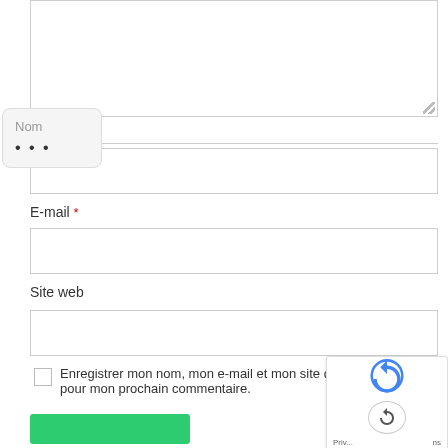[Figure (screenshot): Empty textarea input box with resize handle at bottom right]
[Figure (screenshot): Tooltip bubble showing 'Nom' label with three dots password-style characters below]
Nom *
[Figure (screenshot): Empty text input field for Nom]
E-mail *
[Figure (screenshot): Empty text input field for E-mail]
Site web
[Figure (screenshot): Empty text input field for Site web]
Enregistrer mon nom, mon e-mail et mon site dans le na pour mon prochain commentaire.
[Figure (screenshot): reCAPTCHA widget with arrow/refresh button and Priv... ns text at bottom]